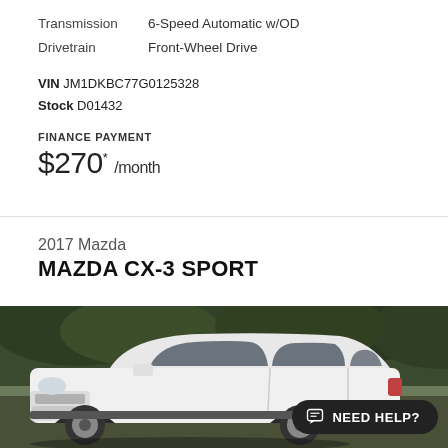Transmission   6-Speed Automatic w/OD
Drivetrain   Front-Wheel Drive
VIN JM1DKBC77G0125328
Stock D01432
FINANCE PAYMENT
$270* /month
2017 Mazda
MAZDA CX-3 SPORT
[Figure (photo): White 2017 Mazda CX-3 Sport SUV photographed outdoors with green foliage in background. A 'NEED HELP?' chat button overlay is visible in the lower right corner.]